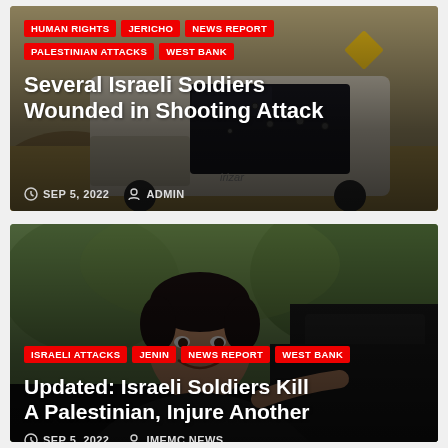[Figure (photo): News card 1: Photo of a bus with bullet holes in the windshield, desert/rocky background. Tags: HUMAN RIGHTS, JERICHO, NEWS REPORT, PALESTINIAN ATTACKS, WEST BANK. Title: Several Israeli Soldiers Wounded in Shooting Attack. Date: SEP 5, 2022. Author: ADMIN.]
[Figure (photo): News card 2: Portrait photo of a young man smiling, seated in a car, greenery in background. Tags: ISRAELI ATTACKS, JENIN, NEWS REPORT, WEST BANK. Title: Updated: Israeli Soldiers Kill A Palestinian, Injure Another. Date: SEP 5, 2022. Author: IMEMC NEWS.]